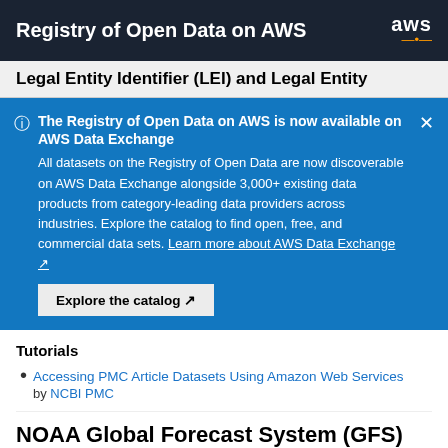Registry of Open Data on AWS
Legal Entity Identifier (LEI) and Legal Entity
The Registry of Open Data on AWS is now available on AWS Data Exchange
All datasets on the Registry of Open Data are now discoverable on AWS Data Exchange alongside 3,000+ existing data products from category-leading data providers across industries. Explore the catalog to find open, free, and commercial data sets. Learn more about AWS Data Exchange
Tutorials
Accessing PMC Article Datasets Using Amazon Web Services by NCBI PMC
NOAA Global Forecast System (GFS)
Publications